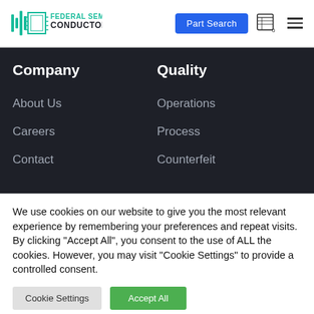Federal Semiconductors — Part Search | Cart 0 | Menu
Company
About Us
Careers
Contact
Quality
Operations
Process
Counterfeit
We use cookies on our website to give you the most relevant experience by remembering your preferences and repeat visits. By clicking "Accept All", you consent to the use of ALL the cookies. However, you may visit "Cookie Settings" to provide a controlled consent.
Cookie Settings | Accept All